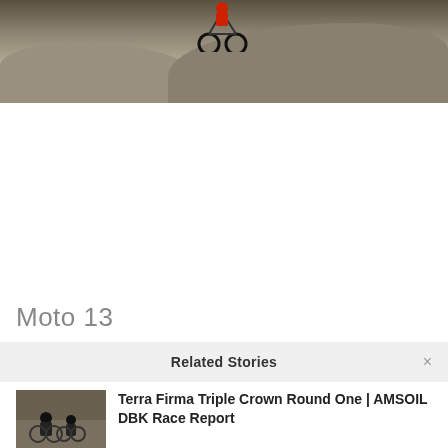[Figure (photo): Motocross rider on a dirt bike jumping over a sand/dirt mound at a motocross track, photographed from below against a light sky background. Brown dirt mounds visible in the background.]
Moto 13
Related Stories
[Figure (photo): Small thumbnail photo of motocross riders racing on a dirt track.]
Terra Firma Triple Crown Round One | AMSOIL DBK Race Report